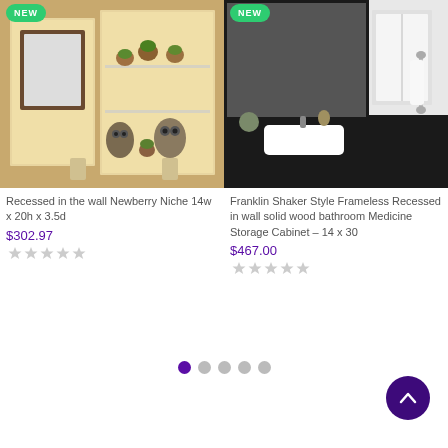[Figure (photo): Photo of recessed wall niche with decorative owls and plants on shelves, with NEW badge]
[Figure (photo): Photo of Franklin Shaker Style frameless recessed medicine cabinet in bathroom, with NEW badge]
Recessed in the wall Newberry Niche 14w x 20h x 3.5d
$302.97
Franklin Shaker Style Frameless Recessed in wall solid wood bathroom Medicine Storage Cabinet – 14 x 30
$467.00